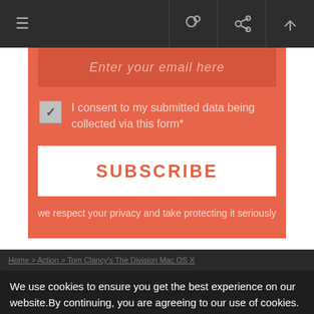≡  [link icon] [search icon] [share icon]
Enter your email here
I consent to my submitted data being collected via this form*
SUBSCRIBE
we respect your privacy and take protecting it seriously
Home > Action > Tom Clancy's The Division Mac OS X
We use cookies to ensure you get the best experience on our website.By continuing, you are agreeing to our use of cookies. More on Cookie Policy page
Agree